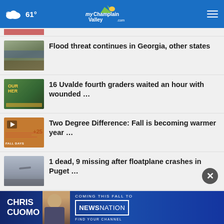61° myChamplainValley.com
Flood threat continues in Georgia, other states
16 Uvalde fourth graders waited an hour with wounded …
Two Degree Difference: Fall is becoming warmer year …
1 dead, 9 missing after floatplane crashes in Puget …
More Stories ›
[Figure (screenshot): Chris Cuomo Coming This Fall to NewsNation advertisement banner]